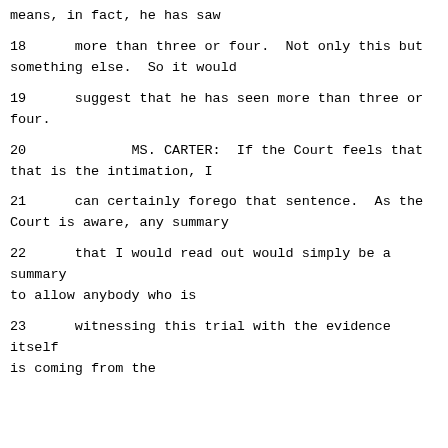means, in fact, he has saw
18      more than three or four.  Not only this but something else.  So it would
19      suggest that he has seen more than three or four.
20             MS. CARTER:  If the Court feels that that is the intimation, I
21      can certainly forego that sentence.  As the Court is aware, any summary
22      that I would read out would simply be a summary to allow anybody who is
23      witnessing this trial with the evidence itself is coming from the